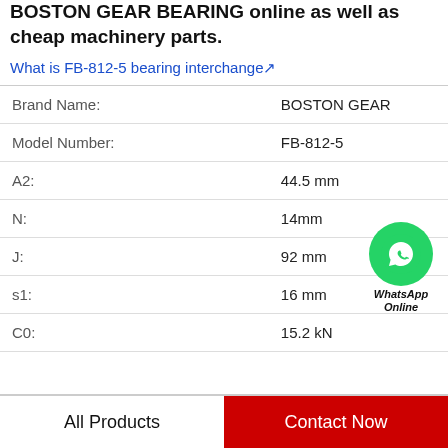BOSTON GEAR BEARING online as well as cheap machinery parts.
What is FB-812-5 bearing interchange↗
| Property | Value |
| --- | --- |
| Brand Name: | BOSTON GEAR |
| Model Number: | FB-812-5 |
| A2: | 44.5 mm |
| N: | 14mm |
| J: | 92 mm |
| s1: | 16 mm |
| C0: | 15.2 kN |
[Figure (illustration): WhatsApp Online green phone icon with text 'WhatsApp Online']
All Products   Contact Now